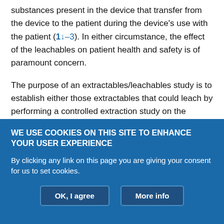substances present in the device that transfer from the device to the patient during the device's use with the patient (1–3). In either circumstance, the effect of the leachables on patient health and safety is of paramount concern.
The purpose of an extractables/leachables study is to establish either those extractables that could leach by performing a controlled extraction study on the medical device or packaging and/or manufacturing system or to establish those leachables that have leached by performing a migration study. In either case, the extract, the drug product (DP), or the contact medium between a medical device and the patient is screened for organic extractables or
WE USE COOKIES ON THIS SITE TO ENHANCE YOUR USER EXPERIENCE
By clicking any link on this page you are giving your consent for us to set cookies.
OK, I agree
More info